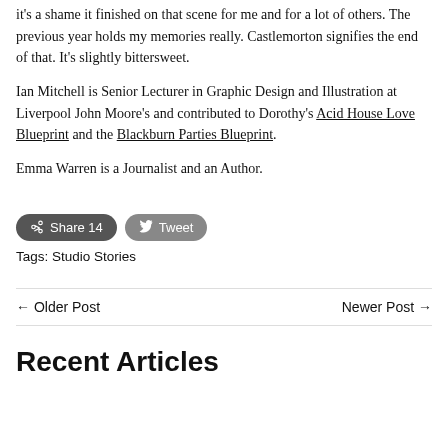it's a shame it finished on that scene for me and for a lot of others. The previous year holds my memories really. Castlemorton signifies the end of that. It's slightly bittersweet.
Ian Mitchell is Senior Lecturer in Graphic Design and Illustration at Liverpool John Moore's and contributed to Dorothy's Acid House Love Blueprint and the Blackburn Parties Blueprint.
Emma Warren is a Journalist and an Author.
Share 14   Tweet
Tags: Studio Stories
← Older Post   Newer Post →
Recent Articles